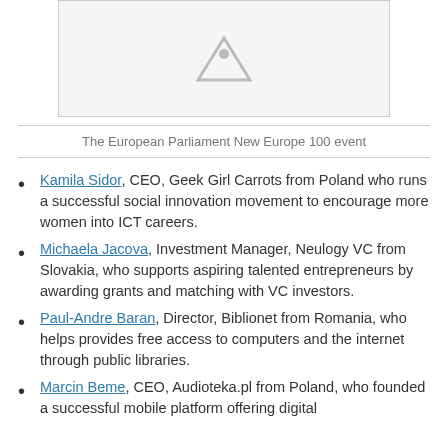[Figure (photo): Placeholder image box with a grey broken image icon, shown above the caption.]
The European Parliament New Europe 100 event
Kamila Sidor, CEO, Geek Girl Carrots from Poland who runs a successful social innovation movement to encourage more women into ICT careers.
Michaela Jacova, Investment Manager, Neulogy VC from Slovakia, who supports aspiring talented entrepreneurs by awarding grants and matching with VC investors.
Paul-Andre Baran, Director, Biblionet from Romania, who helps provides free access to computers and the internet through public libraries.
Marcin Beme, CEO, Audioteka.pl from Poland, who founded a successful mobile platform offering digital